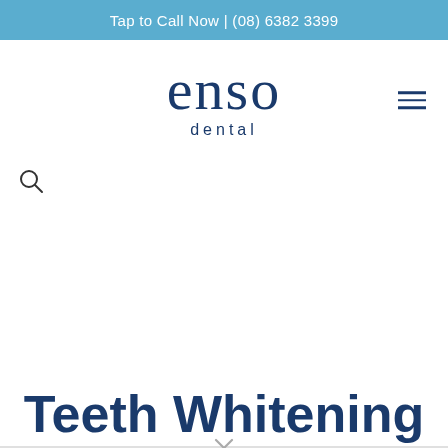Tap to Call Now | (08) 6382 3399
[Figure (logo): Enso Dental logo — the word 'enso' in large dark blue serif font with 'dental' in smaller spaced sans-serif below]
Teeth Whitening